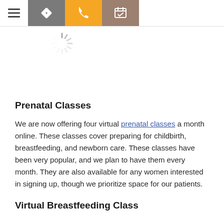[Figure (screenshot): Website navigation bar with hamburger menu, direction icon (gray), phone icon (orange), and calendar/checkmark icon (brown)]
[Figure (other): Loading spinner icon]
Prenatal Classes
We are now offering four virtual prenatal classes a month online. These classes cover preparing for childbirth, breastfeeding, and newborn care. These classes have been very popular, and we plan to have them every month. They are also available for any women interested in signing up, though we prioritize space for our patients.
Virtual Breastfeeding Class